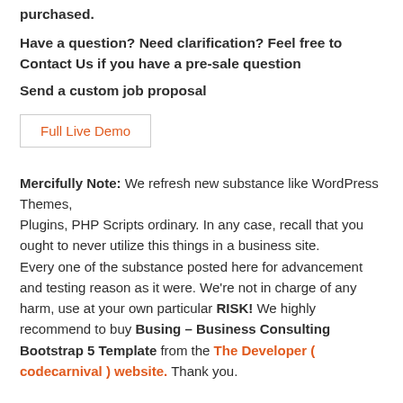purchased.
Have a question? Need clarification? Feel free to Contact Us if you have a pre-sale question
Send a custom job proposal
[Figure (other): Button labeled 'Full Live Demo' with orange text and grey border]
Mercifully Note: We refresh new substance like WordPress Themes, Plugins, PHP Scripts ordinary. In any case, recall that you ought to never utilize this things in a business site. Every one of the substance posted here for advancement and testing reason as it were. We're not in charge of any harm, use at your own particular RISK! We highly recommend to buy Busing – Business Consulting Bootstrap 5 Template from the The Developer ( codecarnival ) website. Thank you.